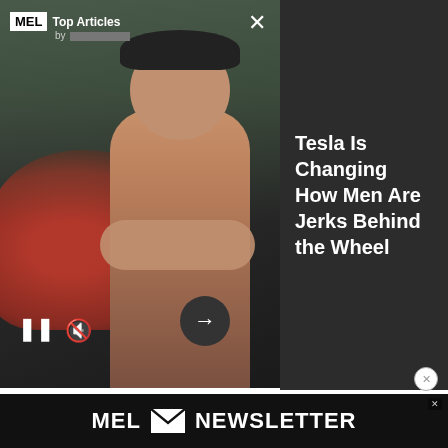[Figure (screenshot): MEL Magazine Top Articles advertisement overlay showing a red Tesla car and a muscular shirtless man with crossed arms, with pause, mute, and arrow navigation buttons]
Tesla Is Changing How Men Are Jerks Behind the Wheel
book, I refused to let these tendencies get the better of me, deciding instead to press on and give IMS the benefit of the doubt. After all, as I mentioned, Diamond has a master's degree and a PhD: My own qualifications include a Bachelor's in Liberal Arts and a vast knowledge of obscure 1990s cartoons, so frankly, I'm not in much of a position to argue.
[Figure (screenshot): MEL Newsletter advertisement banner at bottom of page in black with envelope icon]